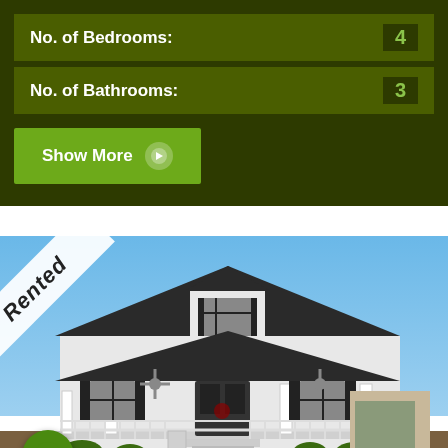No. of Bedrooms: 4
No. of Bathrooms: 3
Show More →
[Figure (photo): Exterior photo of a white colonial-style house with a large covered front porch, black shutters, ceiling fans, and a dormer window. The house has white columns, a black roof, landscaped front yard with shrubs, and a concrete walkway. A 'Rented' banner is overlaid in the top-left corner. A green scroll-up button appears at the bottom-left.]